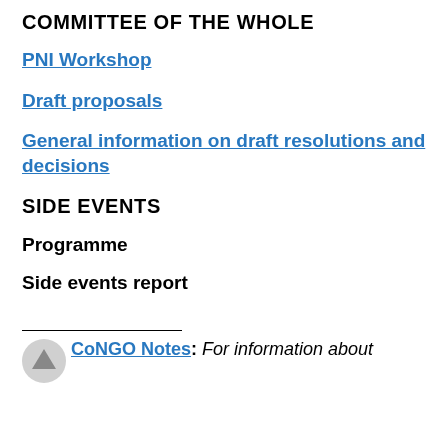COMMITTEE OF THE WHOLE
PNI Workshop
Draft proposals
General information on draft resolutions and decisions
SIDE EVENTS
Programme
Side events report
CoNGO Notes: For information about